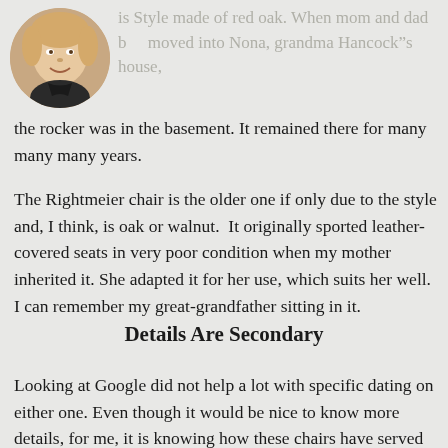[Figure (photo): Circular avatar photo of a woman smiling, with short blonde hair, wearing a dark top.]
is Style made of red oak. When mom and dad b moved into Nona, grandma Hancock’s house, the rocker was in the basement. It remained there for many many many years.
The Rightmeier chair is the older one if only due to the style and, I think, is oak or walnut.  It originally sported leather-covered seats in very poor condition when my mother inherited it. She adapted it for her use, which suits her well. I can remember my great-grandfather sitting in it.
Details Are Secondary
Looking at Google did not help a lot with specific dating on either one. Even though it would be nice to know more details, for me, it is knowing how these chairs have served